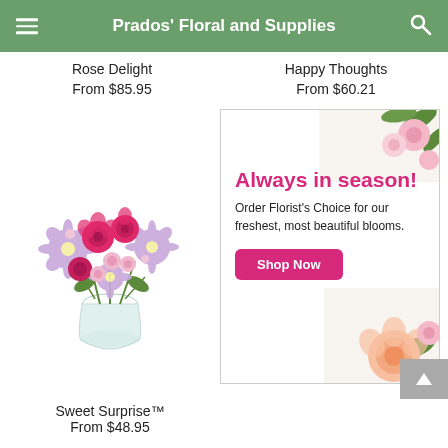Prados' Floral and Supplies
Rose Delight
From $85.95
Happy Thoughts
From $60.21
[Figure (photo): Bouquet of pink and purple flowers including roses and daisies in a glass vase — Sweet Surprise™]
[Figure (infographic): Advertisement banner with flowers: 'Always in season! Order Florist's Choice for our freshest, most beautiful blooms.' with a pink 'Shop Now' button]
Sweet Surprise™
From $48.95